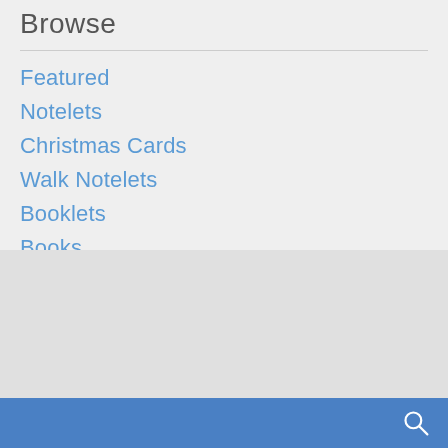Browse
Featured
Notelets
Christmas Cards
Walk Notelets
Booklets
Books
Postcard Books
DVD
Maps